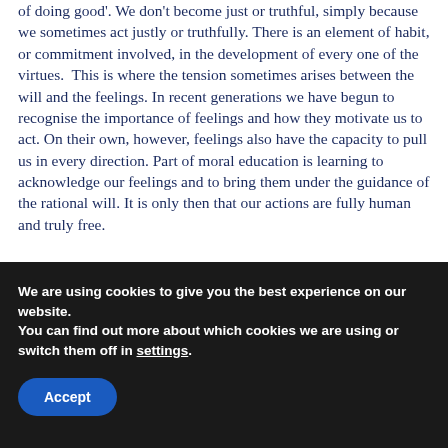of doing good'. We don't become just or truthful, simply because we sometimes act justly or truthfully. There is an element of habit, or commitment involved, in the development of every one of the virtues. This is where the tension sometimes arises between the will and the feelings. In recent generations we have begun to recognise the importance of feelings and how they motivate us to act. On their own, however, feelings also have the capacity to pull us in every direction. Part of moral education is learning to acknowledge our feelings and to bring them under the guidance of the rational will. It is only then that our actions are fully human and truly free.
We are using cookies to give you the best experience on our website.
You can find out more about which cookies we are using or switch them off in settings.
Accept